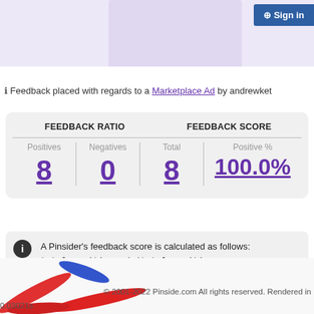[Figure (screenshot): Top navigation banner with purple background box and Sign in button]
ℹ Feedback placed with regards to a Marketplace Ad by andrewket
| FEEDBACK RATIO | FEEDBACK SCORE |
| --- | --- |
| Positives: 8 | Negatives: 0 | Total: 8 | Positive %: 100.0% |
A Pinsider's feedback score is calculated as follows: total_positives / (total_positives + total_negatives) = feedback_score.
[Figure (illustration): Pinball flippers decoration at bottom left]
© 2001-2022 Pinside.com All rights reserved. Rendered in
0.03021s